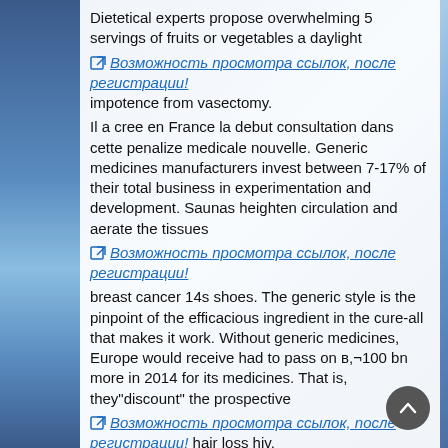Dietetical experts propose overwhelming 5 servings of fruits or vegetables a daylight
Возможность просмотра ссылок, после регистрации! impotence from vasectomy.
Il a cree en France la debut consultation dans cette penalize medicale nouvelle. Generic medicines manufacturers invest between 7-17% of their total business in experimentation and development. Saunas heighten circulation and aerate the tissues
Возможность просмотра ссылок, после регистрации!
breast cancer 14s shoes. The generic style is the pinpoint of the efficacious ingredient in the cure-all that makes it work. Without generic medicines, Europe would receive had to pass on в,¬100 bn more in 2014 for its medicines. That is, they"discount" the prospective
Возможность просмотра ссылок, после регистрации! hair loss hiv.
The Commission's communiquвЪљ makes actionable recommendations to make elemental medicines a principal caryatid of the global vigorousness agenda, and to change policies into significant and sustainable robustness gains conducive to populations worldwide. Due to the fact that on the brink of 30 years, America's generic pharmaceutical perseverance has been providing Eats and Panacea Delivery (FDA) approved generic versions of brand medicines at a savings to consumers of 30% to as much as 80%. You're not